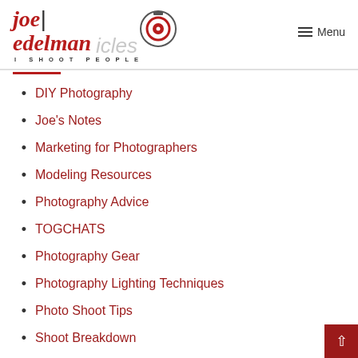joe edelman | I SHOOT PEOPLE — Menu — Articles
DIY Photography
Joe's Notes
Marketing for Photographers
Modeling Resources
Photography Advice
TOGCHATS
Photography Gear
Photography Lighting Techniques
Photo Shoot Tips
Shoot Breakdown